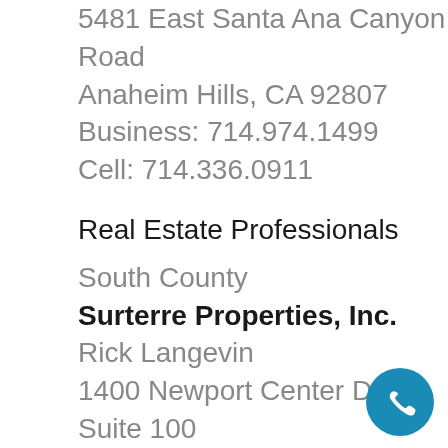5481 East Santa Ana Canyon Road
Anaheim Hills, CA 92807
Business: 714.974.1499
Cell: 714.336.0911
Real Estate Professionals
South County
Surterre Properties, Inc.
Rick Langevin
1400 Newport Center Drive, Suite 100
Newport Beach, CA 92660
Direct: 949.717.7111
Cell: 949.933.2777
[Figure (illustration): Blue circular phone/call icon button in the bottom right corner]